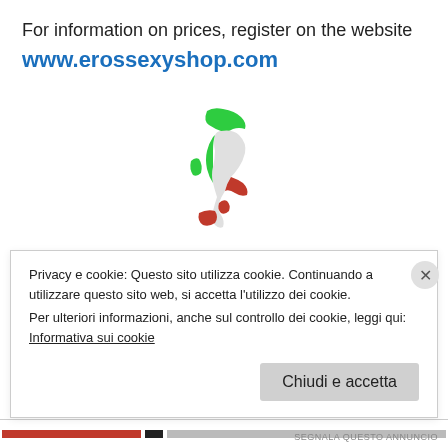For information on prices, register on the website
www.erossexyshop.com
[Figure (illustration): Small icon of the Italian map in Italian flag colors (green, white, red)]
Travestimento infermiera 4 pezzi. Comprende miniabito con bordi rossi, stetoscopio, guanti lunghi in raso e
Privacy e cookie: Questo sito utilizza cookie. Continuando a utilizzare questo sito web, si accetta l'utilizzo dei cookie.
Per ulteriori informazioni, anche sul controllo dei cookie, leggi qui:
Informativa sui cookie
Chiudi e accetta